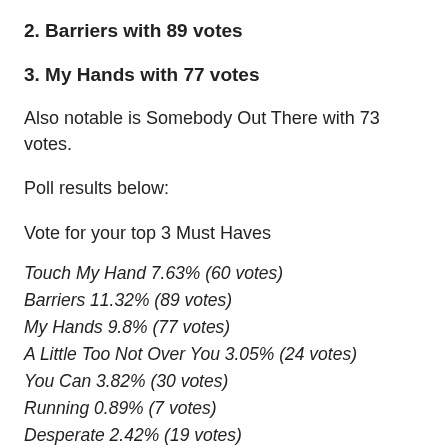2. Barriers with 89 votes
3. My Hands with 77 votes
Also notable is Somebody Out There with 73 votes.
Poll results below:
Vote for your top 3 Must Haves
Touch My Hand 7.63% (60 votes)
Barriers 11.32% (89 votes)
My Hands 9.8% (77 votes)
A Little Too Not Over You 3.05% (24 votes)
You Can 3.82% (30 votes)
Running 0.89% (7 votes)
Desperate 2.42% (19 votes)